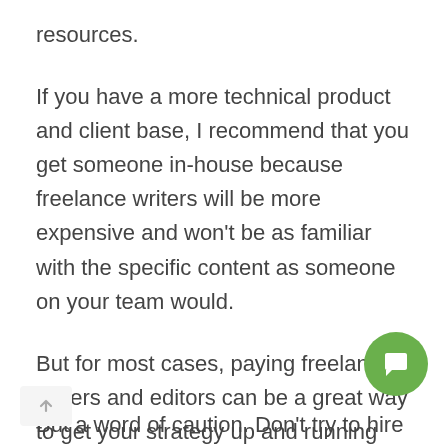resources.
If you have a more technical product and client base, I recommend that you get someone in-house because freelance writers will be more expensive and won't be as familiar with the specific content as someone on your team would.
But for most cases, paying freelance writers and editors can be a great way to get your strategy up and running without a long-term commitment.
But a word of caution. Don't try to hire cheap